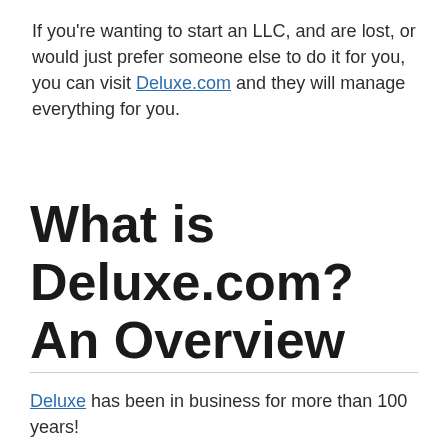If you're wanting to start an LLC, and are lost, or would just prefer someone else to do it for you, you can visit Deluxe.com and they will manage everything for you.
What is Deluxe.com? An Overview
Deluxe has been in business for more than 100 years!